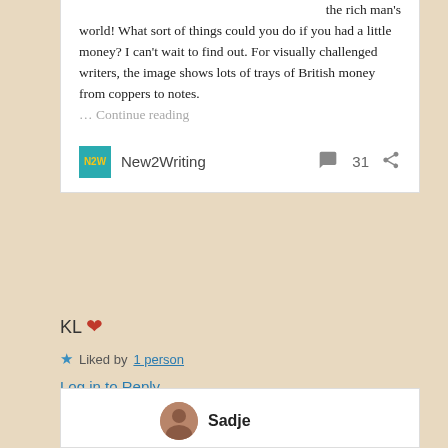the rich man's world! What sort of things could you do if you had a little money? I can't wait to find out. For visually challenged writers, the image shows lots of trays of British money from coppers to notes. … Continue reading
New2Writing  31
KL ❤
★ Liked by 1 person
Log in to Reply
Sadje